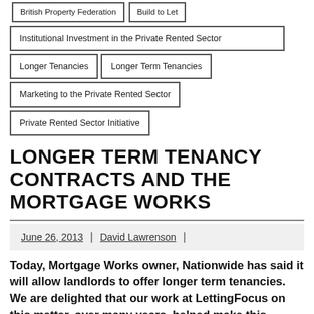British Property Federation
Build to Let
Institutional Investment in the Private Rented Sector
Longer Tenancies
Longer Term Tenancies
Marketing to the Private Rented Sector
Private Rented Sector Initiative
LONGER TERM TENANCY CONTRACTS AND THE MORTGAGE WORKS
June 26, 2013 | David Lawrenson |
Today, Mortgage Works owner, Nationwide has said it will allow landlords to offer longer term tenancies. We are delighted that our work at LettingFocus on this matter, over many years, helped make this happen. Through our consulting work over a long period, we